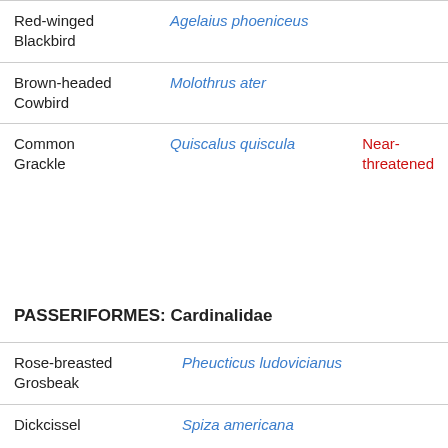| Common Name | Scientific Name | Status |
| --- | --- | --- |
| Red-winged Blackbird | Agelaius phoeniceus |  |
| Brown-headed Cowbird | Molothrus ater |  |
| Common Grackle | Quiscalus quiscula | Near-threatened |
PASSERIFORMES: Cardinalidae
| Common Name | Scientific Name | Status |
| --- | --- | --- |
| Rose-breasted Grosbeak | Pheucticus ludovicianus |  |
| Dickcissel | Spiza americana |  |